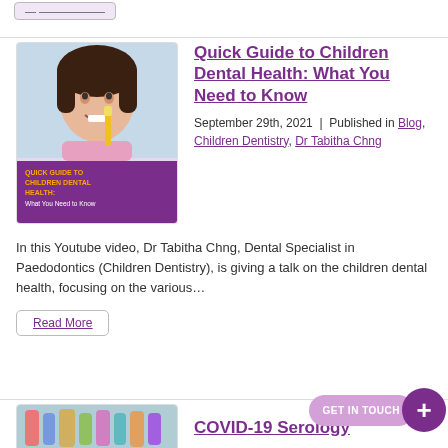[Figure (screenshot): A small navigational button or tag at the top left of the page, appears to be a category label button with light purple background.]
Quick Guide to Children Dental Health: What You Need to Know
September 29th, 2021  |  Published in Blog, Children Dentistry, Dr Tabitha Chng
[Figure (photo): Photo of a young Asian girl smiling and holding a yellow toothbrush, with a purple overlay at the bottom showing book cover text: QUICK GUIDE TO CHILDREN DENTAL HEALTH: What You Need to Know]
In this Youtube video, Dr Tabitha Chng, Dental Specialist in Paedodontics (Children Dentistry), is giving a talk on the children dental health, focusing on the various…
Read More
[Figure (photo): Partial photo of medical/dental vials and bottles, appearing at the bottom left of the page.]
COVID-19 Serology